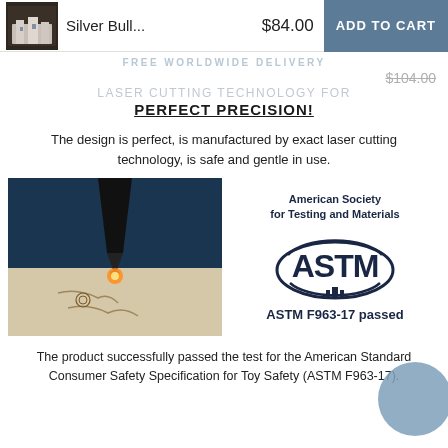[Figure (screenshot): Top cart bar with product thumbnail, title 'Silver Bull...', price $84.00, and ADD TO CART button]
FREE WORLDWIDE DELIVERY
$104.00
LASER CUTTING TECHNOLOGY FOR PERFECT PRECISION!
The design is perfect, is manufactured by exact laser cutting technology, is safe and gentle in use.
[Figure (photo): Close-up photo of laser cutting machine engraving wood]
[Figure (logo): ASTM American Society for Testing and Materials logo with text 'ASTM F963-17 passed']
The product successfully passed the test for the American Standard Consumer Safety Specification for Toy Safety (ASTM F963-17).